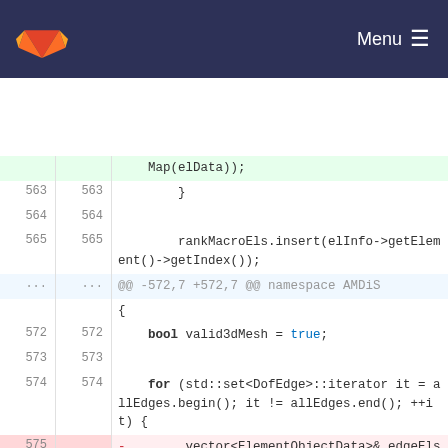[Figure (screenshot): GitLab navigation header bar with fox logo and Menu button]
Code diff view showing lines 563-577 of a source file. Diff shows replacement of elObjects.getElements(*it) with elObjDb.getElements(*it).